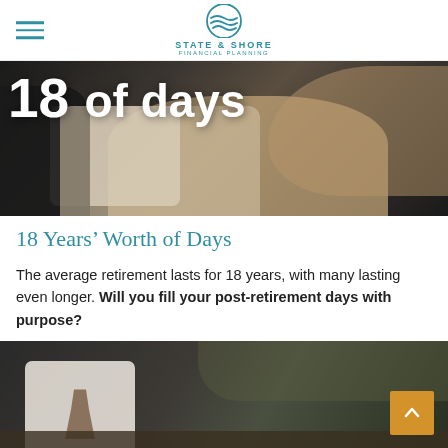STATE & SHORE
[Figure (photo): Dark photo of elderly hands over a tablet device with large white text '18 of days' overlaid on top]
18 Years' Worth of Days
The average retirement lasts for 18 years, with many lasting even longer. Will you fill your post-retirement days with purpose?
[Figure (photo): Bottom portion of a photo showing a wooden puzzle piece or card on a dark outdoor surface with gravel, and an orange scroll-to-top button in the lower right corner]